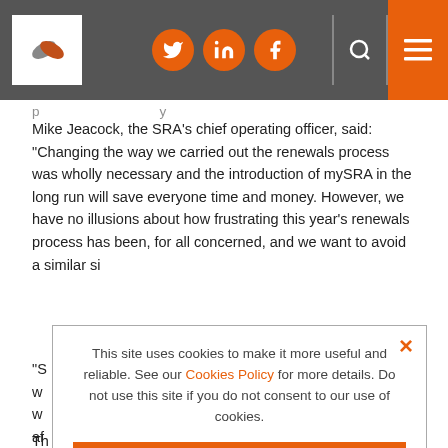SRA website navigation header with logo, social icons (Twitter, LinkedIn, Facebook), search and menu
Mike Jeacock, the SRA's chief operating officer, said: “Changing the way we carried out the renewals process was wholly necessary and the introduction of mySRA in the long run will save everyone time and money. However, we have no illusions about how frustrating this year’s renewals process has been, for all concerned, and we want to avoid a similar situation next time around.
This site uses cookies to make it more useful and reliable. See our Cookies Policy for more details. Do not use this site if you do not consent to our use of cookies.
I CONSENT
SEE COOKIE POLICY